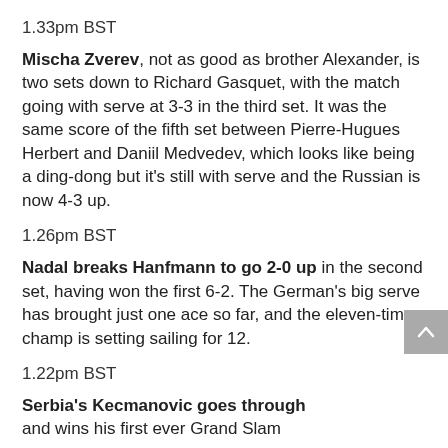1.33pm BST
Mischa Zverev, not as good as brother Alexander, is two sets down to Richard Gasquet, with the match going with serve at 3-3 in the third set. It was the same score of the fifth set between Pierre-Hugues Herbert and Daniil Medvedev, which looks like being a ding-dong but it's still with serve and the Russian is now 4-3 up.
1.26pm BST
Nadal breaks Hanfmann to go 2-0 up in the second set, having won the first 6-2. The German's big serve has brought just one ace so far, and the eleven-time champ is setting sailing for 12.
1.22pm BST
Serbia's Kecmanovic goes through and wins his first ever Grand Slam